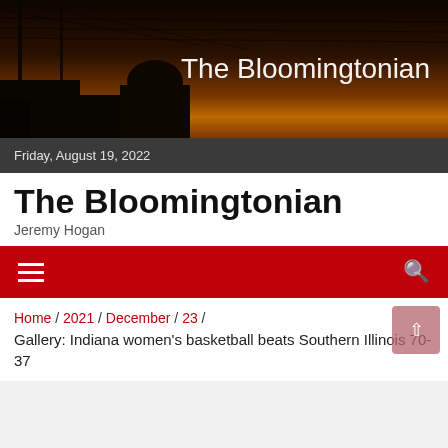[Figure (photo): Dark silhouette skyline photo at sunset/dusk with power lines and a domed building. Text overlay reads 'The Bloomingtonian' in white.]
Friday, August 19, 2022
The Bloomingtonian
Jeremy Hogan
[Figure (infographic): Red navigation bar with hamburger menu icon on left and search icon on right.]
Home / 2021 / December / 23 / Gallery: Indiana women's basketball beats Southern Illinois 70-37